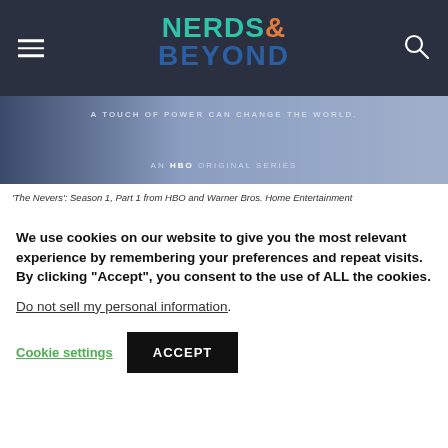[Figure (logo): Nerds & Beyond logo with teal NERDS, orange ampersand, and navy BEYOND text on dark background]
[Figure (photo): The Nevers HBO series promotional banner image with text 'A TOUCH OF POWER CAN CHANGE THE WORLD. AN HBO ORIGINAL SERIES']
'The Nevers': Season 1, Part 1 from HBO and Warner Bros. Home Entertainment
We use cookies on our website to give you the most relevant experience by remembering your preferences and repeat visits. By clicking “Accept”, you consent to the use of ALL the cookies.
Do not sell my personal information.
Cookie settings  ACCEPT